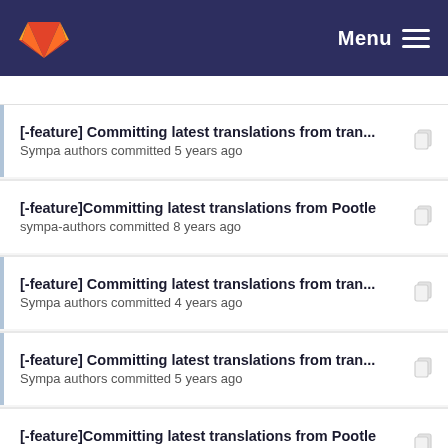Menu
[-feature] Committing latest translations from tran...
Sympa authors committed 5 years ago
[-feature]Committing latest translations from Pootle
sympa-authors committed 8 years ago
[-feature] Committing latest translations from tran...
Sympa authors committed 4 years ago
[-feature] Committing latest translations from tran...
Sympa authors committed 5 years ago
[-feature]Committing latest translations from Pootle
sympa-authors committed 8 years ago
[-feature] Committing latest translations from tran...
Sympa authors committed 4 years ago
[-feature] Committing latest translations from tran...
Sympa authors committed 5 years ago